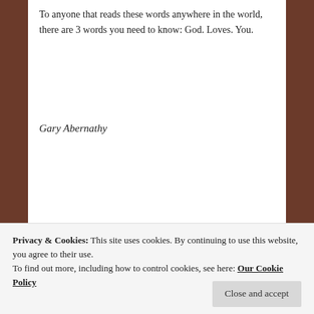To anyone that reads these words anywhere in the world, there are 3 words you need to know: God. Loves. You.
Gary Abernathy
Posted in Christian, Christian devotional, faith | Tagged be still and know, Christ, ecclesiastes, God,
Privacy & Cookies: This site uses cookies. By continuing to use this website, you agree to their use. To find out more, including how to control cookies, see here: Our Cookie Policy